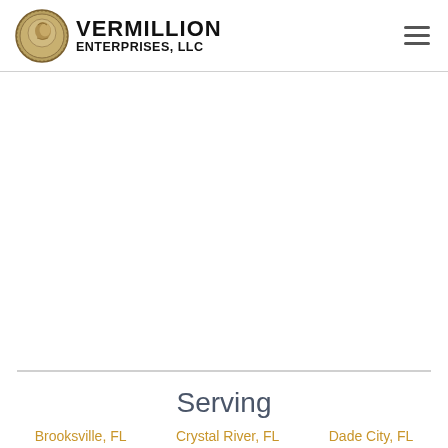Vermillion Enterprises, LLC
[Figure (logo): Vermillion Enterprises LLC logo with coin image on left and bold uppercase text VERMILLION ENTERPRISES, LLC on right, plus hamburger menu icon in top right]
Serving
Brooksville, FL
Crystal River, FL
Dade City, FL